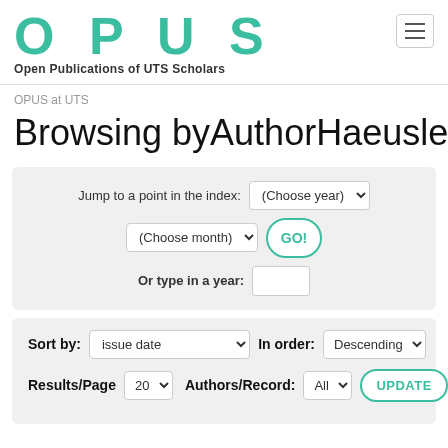[Figure (logo): OPUS logo with text Open Publications of UTS Scholars]
OPUS at UTS
Browsing byAuthorHaeusler, M
Jump to a point in the index: (Choose year) (Choose month) GO! Or type in a year:
Sort by: issue date   In order: Descending   Results/Page 20   Authors/Record: All   UPDATE